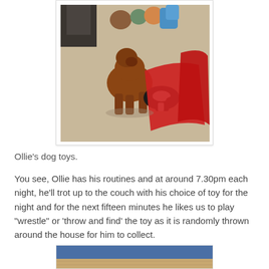[Figure (photo): Photo of Ollie's dog toys on the floor — stuffed animal toys including a brown dog toy and a black-and-white skunk toy, with a red blanket/cloth visible, and additional toys in the background on a beige carpet.]
Ollie's dog toys.
You see, Ollie has his routines and at around 7.30pm each night, he'll trot up to the couch with his choice of toy for the night and for the next fifteen minutes he likes us to play "wrestle" or 'throw and find' the toy as it is randomly thrown around the house for him to collect.
[Figure (photo): Partial photo visible at the bottom of the page, showing a blue background and what appears to be a wooden floor.]